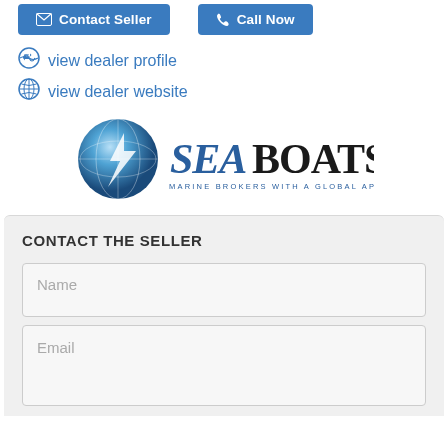[Figure (other): Two buttons: 'Contact Seller' (blue, with envelope icon) and 'Call Now' (blue, with phone icon)]
view dealer profile
view dealer website
[Figure (logo): SeaBoats logo: globe icon with 'SeaBoats' text and tagline 'MARINE BROKERS WITH A GLOBAL APPROACH']
CONTACT THE SELLER
Name
Email